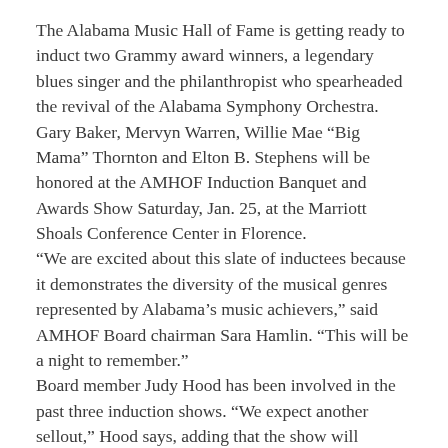The Alabama Music Hall of Fame is getting ready to induct two Grammy award winners, a legendary blues singer and the philanthropist who spearheaded the revival of the Alabama Symphony Orchestra.
Gary Baker, Mervyn Warren, Willie Mae “Big Mama” Thornton and Elton B. Stephens will be honored at the AMHOF Induction Banquet and Awards Show Saturday, Jan. 25, at the Marriott Shoals Conference Center in Florence.
“We are excited about this slate of inductees because it demonstrates the diversity of the musical genres represented by Alabama’s music achievers,” said AMHOF Board chairman Sara Hamlin. “This will be a night to remember.”
Board member Judy Hood has been involved in the past three induction shows. “We expect another sellout,” Hood says, adding that the show will include performances related to the inductees as well as some “special guests” that will be announced closer to the show.
AMHOF Executive Director Sandra Burroughs said table prices